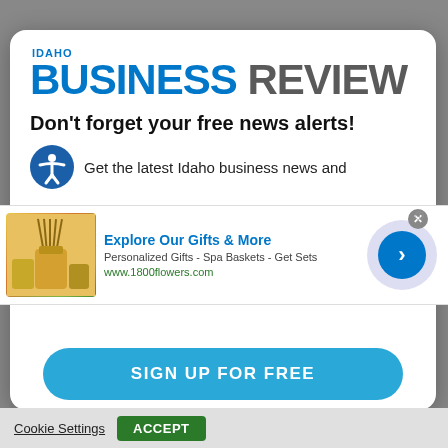[Figure (logo): Idaho Business Review logo with blue BUSINESS text and gray REVIEW text]
Don't forget your free news alerts!
Get the latest Idaho business news and
[Figure (infographic): Advertisement banner: Explore Our Gifts & More - Personalized Gifts - Spa Baskets - Get Sets - www.1800flowers.com]
[Figure (other): Sign up for free button]
Cookie Settings
ACCEPT